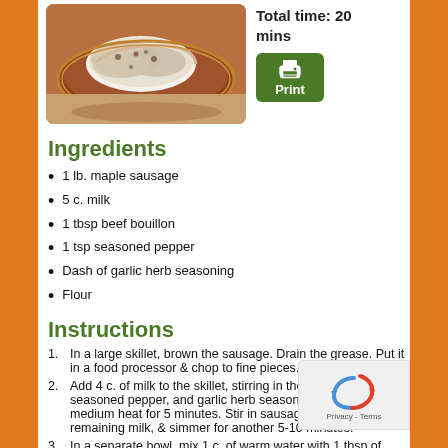[Figure (photo): Photo of biscuits and sausage gravy on a plate]
Total time:  20 mins
[Figure (other): Green print button with printer icon]
Ingredients
1 lb. maple sausage
5 c. milk
1 tbsp beef bouillon
1 tsp seasoned pepper
Dash of garlic herb seasoning
Flour
Instructions
In a large skillet, brown the sausage. Drain the grease. Put it in a food processor & chop to fine pieces. Set aside.
Add 4 c. of milk to the skillet, stirring in the beef bouillon, seasoned pepper, and garlic herb seasoning. Simmer over medium heat for 5 minutes. Stir in sausage, add the remaining milk, & simmer for another 5-10 minutes.
In a separate bowl, mix 1 c. of warm water with 1 tbsp of flour. Stir until well mixed. Continue to add